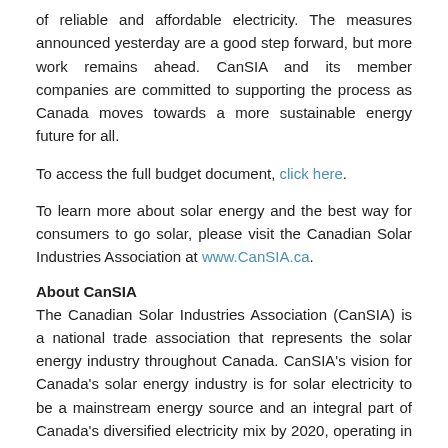of reliable and affordable electricity. The measures announced yesterday are a good step forward, but more work remains ahead. CanSIA and its member companies are committed to supporting the process as Canada moves towards a more sustainable energy future for all.
To access the full budget document, click here.
To learn more about solar energy and the best way for consumers to go solar, please visit the Canadian Solar Industries Association at www.CanSIA.ca.
About CanSIA
The Canadian Solar Industries Association (CanSIA) is a national trade association that represents the solar energy industry throughout Canada. CanSIA's vision for Canada's solar energy industry is for solar electricity to be a mainstream energy source and an integral part of Canada's diversified electricity mix by 2020, operating in a supportive and stable policy and regulatory environment within a similar time frame. Follow CanSIA on Twitter and Facebook.